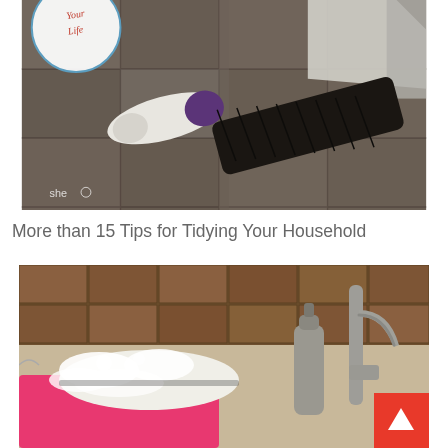[Figure (photo): Photo of a hand brush/duster with white and purple handle and black bristles lying on a slate tile floor, with a dustpan behind it. A circular logo overlay reads 'Your Life'. Watermark 'she' visible in bottom-left corner.]
More than 15 Tips for Tidying Your Household
[Figure (photo): Photo of a kitchen sink area showing a soap dispenser, faucet in brushed nickel, sponge with foam/suds, and a pink dish tub. Brown tile backsplash visible in background. A red 'back to top' arrow button overlays the bottom-right corner.]